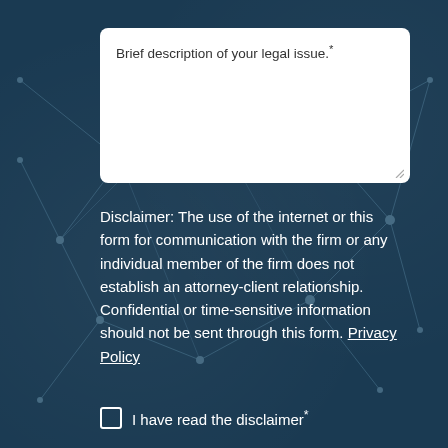Brief description of your legal issue.*
Disclaimer: The use of the internet or this form for communication with the firm or any individual member of the firm does not establish an attorney-client relationship. Confidential or time-sensitive information should not be sent through this form. Privacy Policy
I have read the disclaimer*